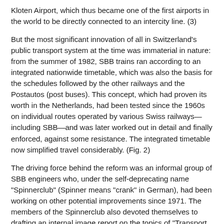Kloten Airport, which thus became one of the first airports in the world to be directly connected to an intercity line. (3)
But the most significant innovation of all in Switzerland's public transport system at the time was immaterial in nature: from the summer of 1982, SBB trains ran according to an integrated nationwide timetable, which was also the basis for the schedules followed by the other railways and the Postautos (post buses). This concept, which had proven its worth in the Netherlands, had been tested since the 1960s on individual routes operated by various Swiss railways—including SBB—and was later worked out in detail and finally enforced, against some resistance. The integrated timetable now simplified travel considerably. (Fig. 2)
The driving force behind the reform was an informal group of SBB engineers who, under the self-deprecating name "Spinnerclub" (Spinner means "crank" in German), had been working on other potential improvements since 1971. The members of the Spinnerclub also devoted themselves to drafting an internal image report on the topics of "Transport Policy Behavior," "Service Image," "SBB's Reputation as an Employer," "Relations with the Mass Media," and "Visual Image." Uli Huber co-authored the last